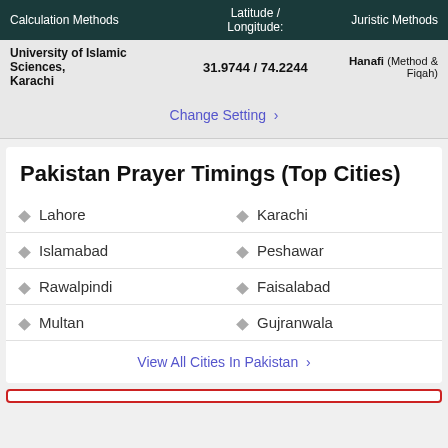| Calculation Methods | Latitude / Longitude: | Juristic Methods |
| --- | --- | --- |
| University of Islamic Sciences, Karachi | 31.9744 / 74.2244 | Hanafi (Method & Fiqah) |
Change Setting >
Pakistan Prayer Timings (Top Cities)
Lahore
Karachi
Islamabad
Peshawar
Rawalpindi
Faisalabad
Multan
Gujranwala
View All Cities In Pakistan >